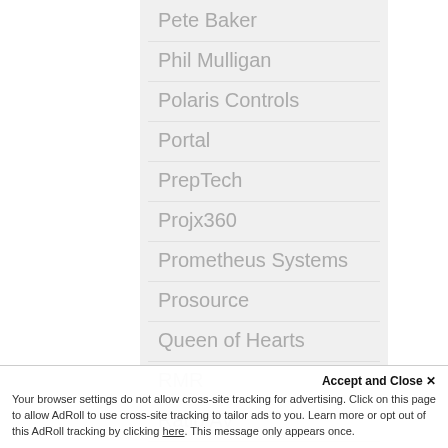Pete Baker
Phil Mulligan
Polaris Controls
Portal
PrepTech
Projx360
Prometheus Systems
Prosource
Queen of Hearts
RMR
Ratio AV
Raywa Home Theaters
Red Five Security
Refined Systems
Accept and Close ✕
Your browser settings do not allow cross-site tracking for advertising. Click on this page to allow AdRoll to use cross-site tracking to tailor ads to you. Learn more or opt out of this AdRoll tracking by clicking here. This message only appears once.